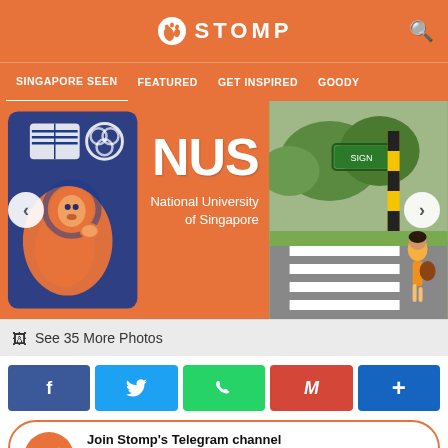STOMP
SINGAPORE SEEN | FEATURED | GET INSPIRED | GOODY
[Figure (photo): NUS National University of Singapore orange sign with NUS crest (lion and shield) on left panel, and street crosswalk scene with a person walking on the right panel. Navigation arrows on left and right sides.]
See 35 More Photos
[Figure (infographic): Social sharing buttons: Facebook (blue), Twitter (light blue), WhatsApp (green), Gmail (red), More (dark blue)]
Join Stomp's Telegram channel for the latest news updates!
https://t.me/stompteam
Posted on 22 September 2020 | 2,924 views | 14 comments